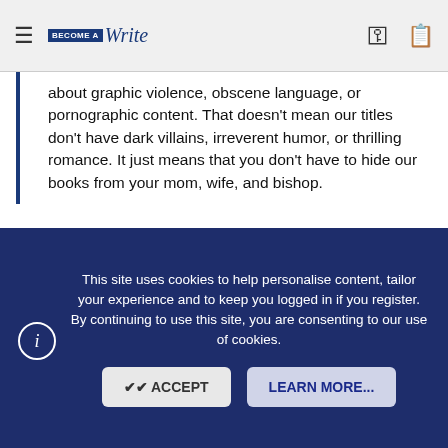≡  BecomeAWrite  🔑  📋
about graphic violence, obscene language, or pornographic content. That doesn't mean our titles don't have dark villains, irreverent humor, or thrilling romance. It just means that you don't have to hide our books from your mom, wife, and bishop.
They seem to be just starting, with no books for sale and the only samples written by the Managing Editor, Jason King. No one seems to have any experience in publishing. They say nothing about what they offer any prospective authors except in-house audio book production and cinematic book trailers. The same audio book sounds fine to me, but the book trailer is...not good.
This site uses cookies to help personalise content, tailor your experience and to keep you logged in if you register.
By continuing to use this site, you are consenting to our use of cookies.